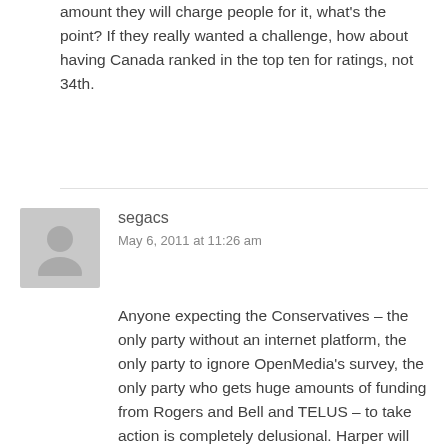amount they will charge people for it, what's the point? If they really wanted a challenge, how about having Canada ranked in the top ten for ratings, not 34th.
segacs
May 6, 2011 at 11:26 am
Anyone expecting the Conservatives – the only party without an internet platform, the only party to ignore OpenMedia's survey, the only party who gets huge amounts of funding from Rogers and Bell and TELUS – to take action is completely delusional. Harper will do nothing other than strengthen the big telecoms at the expense of consumers. And he's got no opposition with power to encourage him to act. Canada will lag further and further behind. In 1,500 days, we'll all be paying hundreds a month